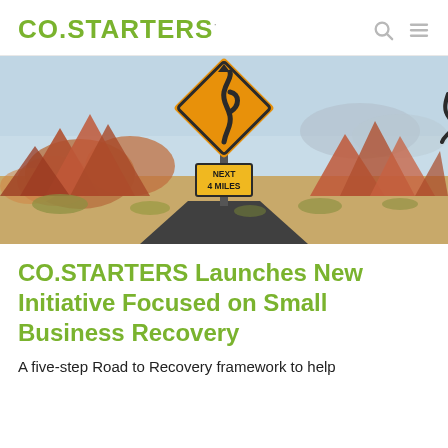CO.STARTERS
[Figure (photo): Desert highway roadside scene with an orange diamond-shaped winding road warning sign and a rectangular sign below reading 'NEXT 4 MILES', set against red rock formations and a clear sky.]
CO.STARTERS Launches New Initiative Focused on Small Business Recovery
A five-step Road to Recovery framework to help